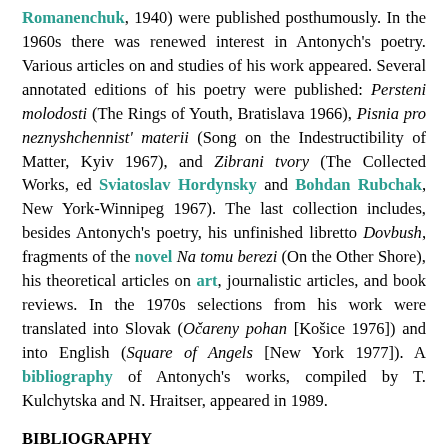Romanenchuk, 1940) were published posthumously. In the 1960s there was renewed interest in Antonych's poetry. Various articles on and studies of his work appeared. Several annotated editions of his poetry were published: Persteni molodosti (The Rings of Youth, Bratislava 1966), Pisnia pro neznyshchennist' materii (Song on the Indestructibility of Matter, Kyiv 1967), and Zibrani tvory (The Collected Works, ed Sviatoslav Hordynsky and Bohdan Rubchak, New York-Winnipeg 1967). The last collection includes, besides Antonych's poetry, his unfinished libretto Dovbush, fragments of the novel Na tomu berezi (On the Other Shore), his theoretical articles on art, journalistic articles, and book reviews. In the 1970s selections from his work were translated into Slovak (Očareny pohan [Košice 1976]) and into English (Square of Angels [New York 1977]). A bibliography of Antonych's works, compiled by T. Kulchytska and N. Hraitser, appeared in 1989.
BIBLIOGRAPHY